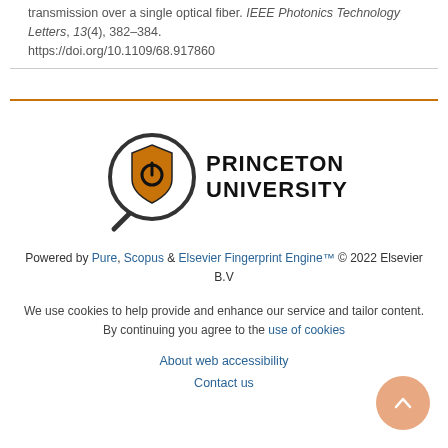transmission over a single optical fiber. IEEE Photonics Technology Letters, 13(4), 382-384. https://doi.org/10.1109/68.917860
[Figure (logo): Princeton University logo with magnifying glass icon containing an orange shield, next to the text PRINCETON UNIVERSITY in bold black letters]
Powered by Pure, Scopus & Elsevier Fingerprint Engine™ © 2022 Elsevier B.V
We use cookies to help provide and enhance our service and tailor content. By continuing you agree to the use of cookies
About web accessibility
Contact us